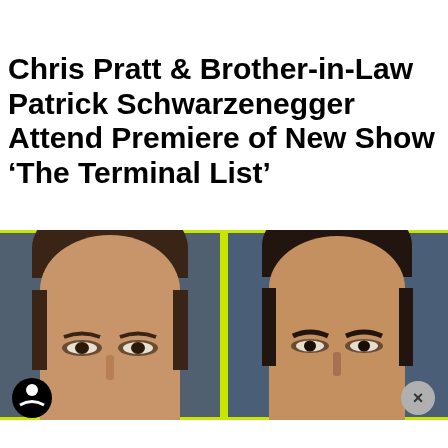Chris Pratt & Brother-in-Law Patrick Schwarzenegger Attend Premiere of New Show ‘The Terminal List’
[Figure (photo): Side-by-side close-up photos of two men's faces against a blue background. Left: Chris Pratt with brown hair. Right: Patrick Schwarzenegger with darker brown hair. A yellow-green border separates the two images. An accessibility icon button appears bottom-left and a close (X) button appears bottom-right.]